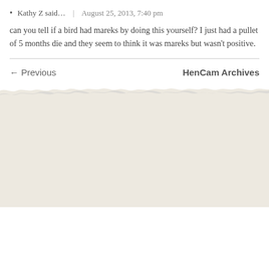• Kathy Z said…   |   August 25, 2013, 7:40 pm
can you tell if a bird had mareks by doing this yourself? I just had a pullet of 5 months die and they seem to think it was mareks but wasn't positive.
← Previous
HenCam Archives